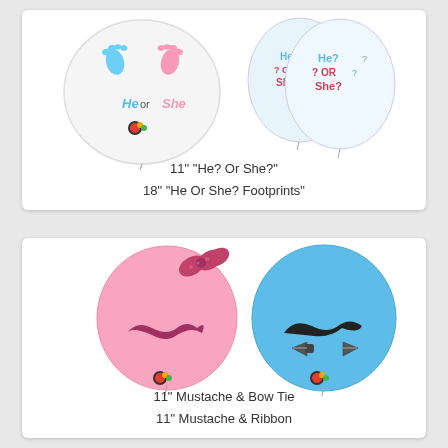[Figure (illustration): Gender reveal balloons: large round foil balloon with baby footprints and 'He or She' text, and two white latex balloons with 'He? Or She?' text]
11" "He? Or She?"
18" "He Or She? Footprints"
[Figure (illustration): Two latex balloons: pink balloon with mustache and pink bow ribbon, and a blue balloon with mustache and bow tie]
11" Mustache & Bow Tie
11" Mustache & Ribbon